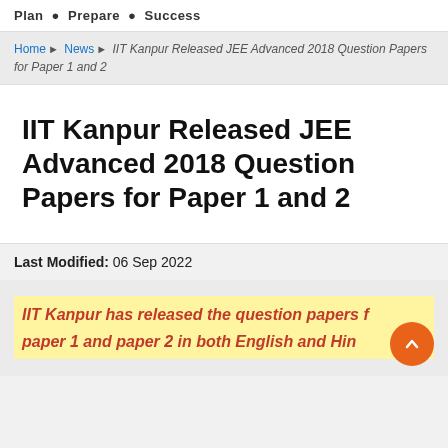Plan • Prepare • Success
Home > News > IIT Kanpur Released JEE Advanced 2018 Question Papers for Paper 1 and 2
IIT Kanpur Released JEE Advanced 2018 Question Papers for Paper 1 and 2
Last Modified: 06 Sep 2022
IIT Kanpur has released the question papers for paper 1 and paper 2 in both English and Hindi